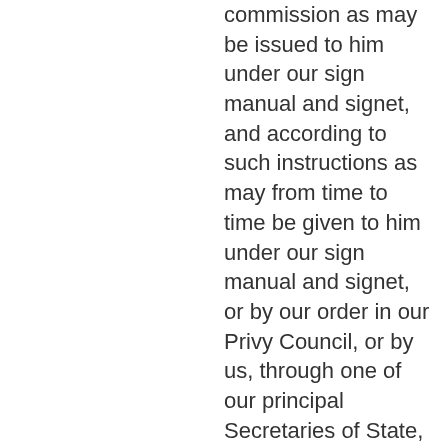commission as may be issued to him under our sign manual and signet, and according to such instructions as may from time to time be given to him under our sign manual and signet, or by our order in our Privy Council, or by us, through one of our principal Secretaries of State, and to such laws as are now or shall hereafter be in force in the State.
1758 és 2007 között 199 könyvben jelenik meg
410. oldal - Dominion, a pardon, either free or subject to lawful conditions or any respite of the execution of the